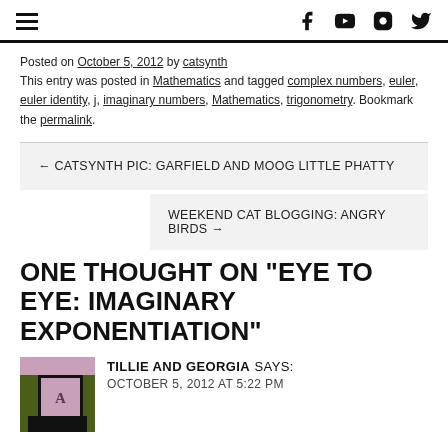Navigation header with hamburger menu and social icons (Facebook, YouTube, Instagram, Twitter)
Posted on October 5, 2012 by catsynth
This entry was posted in Mathematics and tagged complex numbers, euler, euler identity, j, imaginary numbers, Mathematics, trigonometry. Bookmark the permalink.
← CATSYNTH PIC: GARFIELD AND MOOG LITTLE PHATTY
WEEKEND CAT BLOGGING: ANGRY BIRDS →
ONE THOUGHT ON “EYE TO EYE: IMAGINARY EXPONENTIATION”
TILLIE AND GEORGIA SAYS:
OCTOBER 5, 2012 AT 5:22 PM